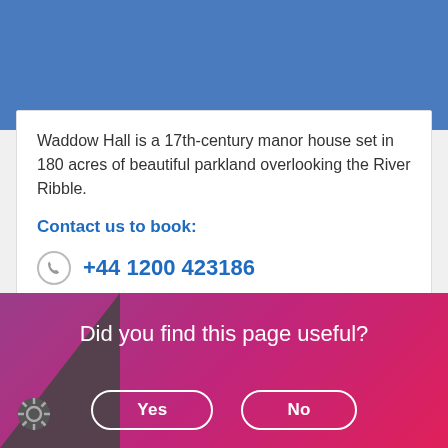[Figure (illustration): Blue banner/header area at top of page]
Waddow Hall is a 17th-century manor house set in 180 acres of beautiful parkland overlooking the River Ribble.
Contact us to book:
+44 1200 423186
waddow@girlguiding.org.uk
Did you find this page useful?
Yes
No